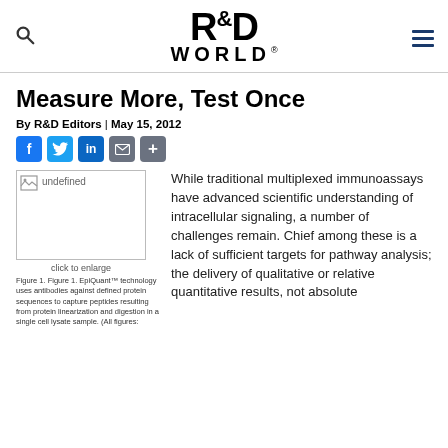R&D WORLD
Measure More, Test Once
By R&D Editors | May 15, 2012
[Figure (other): Social share icons: Facebook, Twitter, LinkedIn, Email, Share]
[Figure (photo): Undefined image placeholder with 'click to enlarge' text]
Figure 1. Figure 1. EpiQuant™ technology uses antibodies against defined protein sequences to capture peptides resulting from protein linearization and digestion in a single cell lysate sample. (All figures:
While traditional multiplexed immunoassays have advanced scientific understanding of intracellular signaling, a number of challenges remain. Chief among these is a lack of sufficient targets for pathway analysis; the delivery of qualitative or relative quantitative results, not absolute